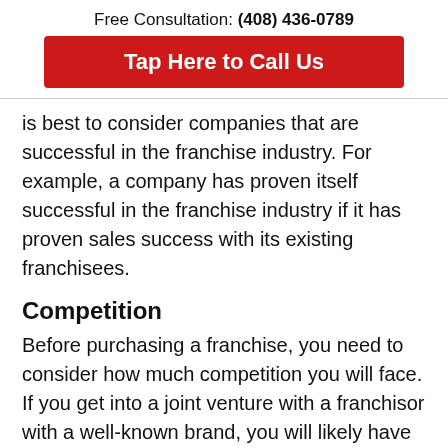Free Consultation: (408) 436-0789
[Figure (other): Red call-to-action button: Tap Here to Call Us]
is best to consider companies that are successful in the franchise industry. For example, a company has proven itself successful in the franchise industry if it has proven sales success with its existing franchisees.
Competition
Before purchasing a franchise, you need to consider how much competition you will face. If you get into a joint venture with a franchisor with a well-known brand, you will likely have to deal with many competitors because of the